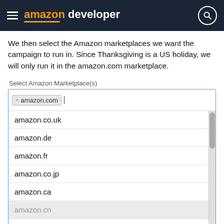amazon developer
We then select the Amazon marketplaces we want the campaign to run in. Since Thanksgiving is a US holiday, we will only run it in the amazon.com marketplace.
[Figure (screenshot): A UI widget labeled 'Select Amazon Marketplace(s)' showing a multi-select input with 'amazon.com' already selected as a tag, and a dropdown list showing options: amazon.co.uk, amazon.de, amazon.fr, amazon.co.jp, amazon.ca, amazon.cn (highlighted/grey), amazon.es. A scrollbar is visible on the right side of the dropdown.]
Next, we can choose the dates for our campaign, with the minimum being one day and the maximum being 27 consecutive days. We are going to run this campaign